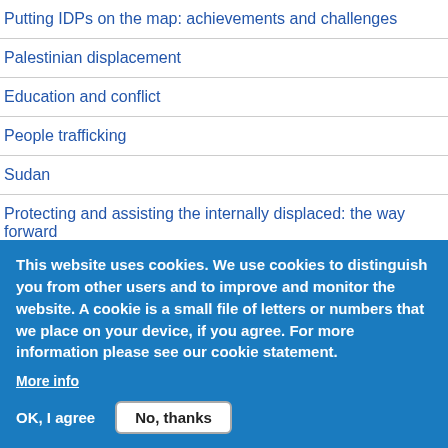Putting IDPs on the map: achievements and challenges
Palestinian displacement
Education and conflict
People trafficking
Sudan
Protecting and assisting the internally displaced: the way forward
Tsunami
This website uses cookies. We use cookies to distinguish you from other users and to improve and monitor the website. A cookie is a small file of letters or numbers that we place on your device, if you agree. For more information please see our cookie statement.
More info
OK, I agree   No, thanks